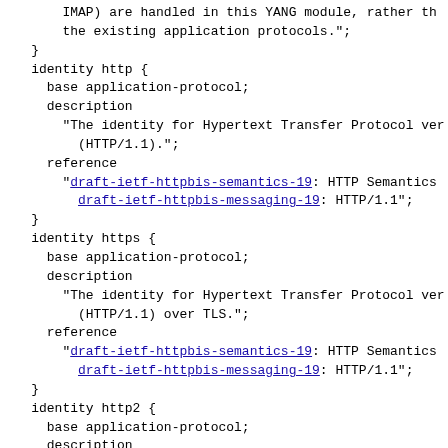YANG module code block showing identity definitions for http, https, http2, https2 application protocols with base, description, and reference fields. Contains hyperlinks to draft-ietf-httpbis-semantics-19, draft-ietf-httpbis-messaging-19, and draft-ietf-httpbis-http2bis-07.